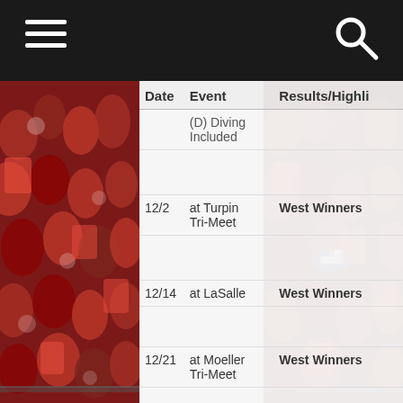Navigation bar with hamburger menu and search icon
| Date | Event | Team Placings | Results/Highlights |
| --- | --- | --- | --- |
|  | (D) Diving Included |  |  |
| 12/2 | at Turpin Tri-Meet |  | West Winners |
| 12/14 | at LaSalle |  | West Winners |
| 12/21 | at Moeller Tri-Meet |  | West Winners |
| 12/30 | at Walnut Hills Tri-Meet |  | West Winners |